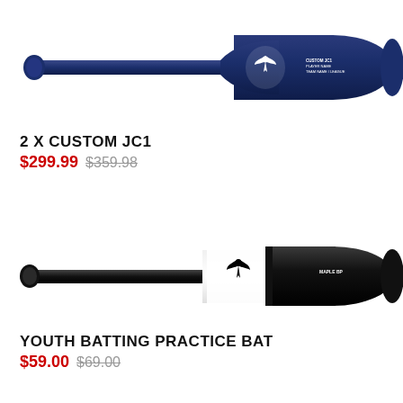[Figure (photo): Navy blue custom baseball bat with white eagle logo and text reading PLAYER NAME / TEAM NAME / LEAGUE on the barrel]
2 X CUSTOM JC1
$299.99 $359.98
[Figure (photo): Black youth batting practice baseball bat with white eagle logo and text reading MAPLE BP on the barrel]
YOUTH BATTING PRACTICE BAT
$59.00 $69.00